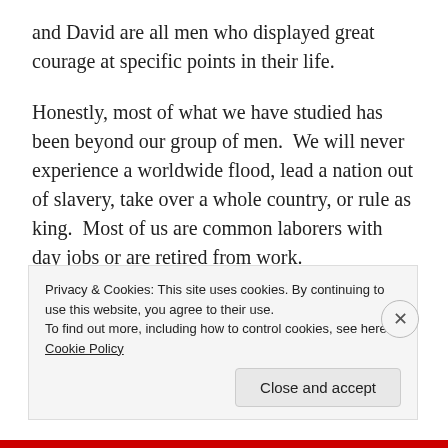and David are all men who displayed great courage at specific points in their life.
Honestly, most of what we have studied has been beyond our group of men.  We will never experience a worldwide flood, lead a nation out of slavery, take over a whole country, or rule as king.  Most of us are common laborers with day jobs or are retired from work.
As a result, our attention must focus not on enormous feats of courage, rather on everyday courage.  We need
Privacy & Cookies: This site uses cookies. By continuing to use this website, you agree to their use.
To find out more, including how to control cookies, see here: Cookie Policy
Close and accept